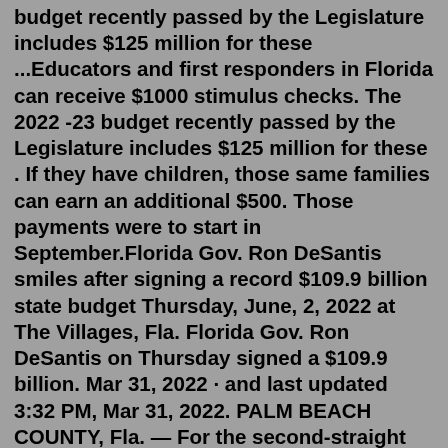budget recently passed by the Legislature includes $125 million for these ...Educators and first responders in Florida can receive $1000 stimulus checks. The 2022 -23 budget recently passed by the Legislature includes $125 million for these . If they have children, those same families can earn an additional $500. Those payments were to start in September.Florida Gov. Ron DeSantis smiles after signing a record $109.9 billion state budget Thursday, June, 2, 2022 at The Villages, Fla. Florida Gov. Ron DeSantis on Thursday signed a $109.9 billion. Mar 31, 2022 · and last updated 3:32 PM, Mar 31, 2022. PALM BEACH COUNTY, Fla. — For the second-straight year, first responders throughout the state of Florida will receive a $1,000 bonus. During stops at the ... Tallahassee, Fl (treasurecoast.com) -First responders across the state of Florida could get a bonus thanks to the latest federal stimulus plan passed by Congress earlier this month.During a news conference in Tallahassee on Tuesday, Gov. Ron